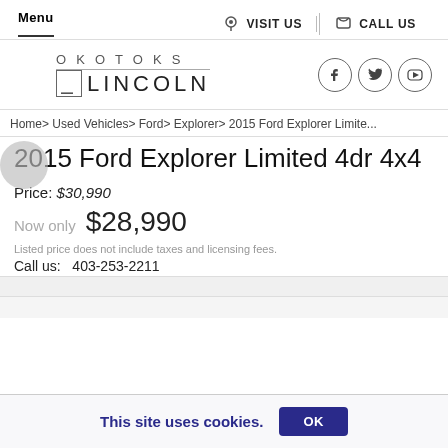Menu | VISIT US | CALL US
[Figure (logo): Okotoks Lincoln dealership logo with social media icons (Facebook, Twitter, YouTube)]
Home > Used Vehicles > Ford > Explorer > 2015 Ford Explorer Limite...
2015 Ford Explorer Limited 4dr 4x4
Price: $30,990
Now only $28,990
Listed price does not include taxes and licensing fees.
Call us: 403-253-2211
This site uses cookies.